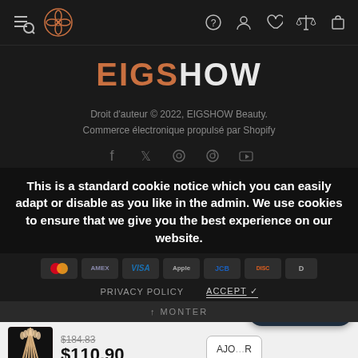[Figure (screenshot): Website navigation bar with hamburger/search icon, flower logo, and right-side icons (help, user, heart, compare, cart)]
EIGSHOW
Droit d'auteur © 2022, EIGSHOW Beauty.
Commerce électronique propulsé par Shopify
[Figure (infographic): Social media icons row: Facebook, Twitter, Instagram, Pinterest, YouTube]
This is a standard cookie notice which you can easily adapt or disable as you like in the admin. We use cookies to ensure that we give you the best experience on our website.
[Figure (infographic): Payment method badges: Mastercard, American Express, Visa, Apple Pay, JCB, Discover, Diners Club]
PRIVACY POLICY    ACCEPT ✓
↑ MONTER
[Figure (photo): Product thumbnail showing makeup brushes fan arrangement on dark background]
$184.83
$110.90
Discuter avec nous
AJOU... R